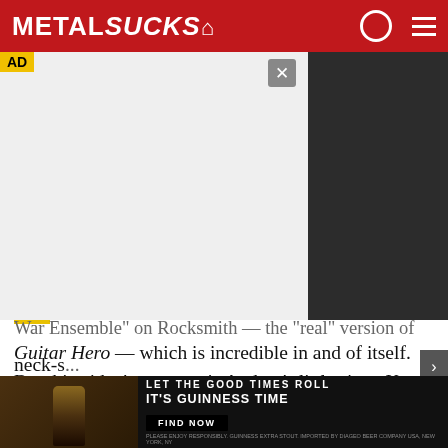MetalSucks
[Figure (screenshot): Advertisement placeholder area with AD label, white content area, close button, and dark sidebar panel]
War Ensemble" on Rocksmith — the "real" version of Guitar Hero — which is incredible in and of itself. But this video's true star is Audrey's little sister Kate standing beside her screaming, sometimes loosely along with the lyrics and sometimes just for the hell of it, and doing a mighty fine Tom Araya impersonation in the process. She's got more energy than Araya post-neck-s...
[Figure (screenshot): Guinness beer advertisement banner: LET THE GOOD TIMES ROLL IT'S GUINNESS TIME with FIND NOW button]